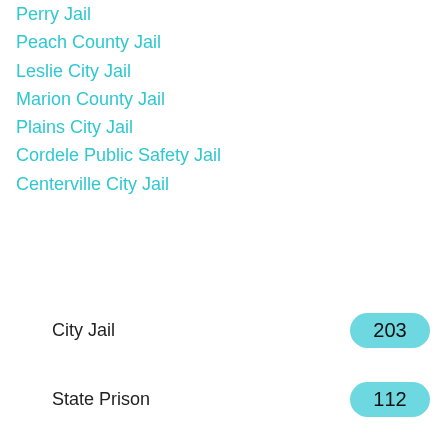Perry Jail
Peach County Jail
Leslie City Jail
Marion County Jail
Plains City Jail
Cordele Public Safety Jail
Centerville City Jail
City Jail 203
State Prison 112
Federal Prison 4